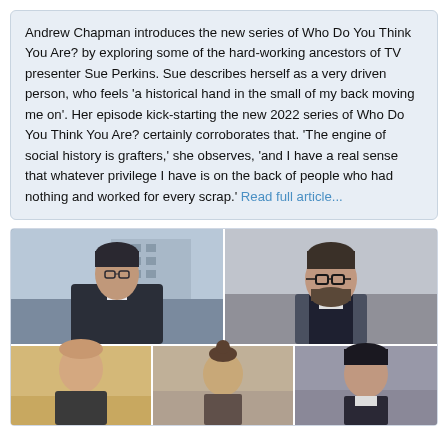Andrew Chapman introduces the new series of Who Do You Think You Are? by exploring some of the hard-working ancestors of TV presenter Sue Perkins. Sue describes herself as a very driven person, who feels 'a historical hand in the small of my back moving me on'. Her episode kick-starting the new 2022 series of Who Do You Think You Are? certainly corroborates that. 'The engine of social history is grafters,' she observes, 'and I have a real sense that whatever privilege I have is on the back of people who had nothing and worked for every scrap.' Read full article...
[Figure (photo): A 2x3 grid collage of six people: top-left shows a woman with short dark hair in a dark coat against an urban backdrop (Sue Perkins); top-right shows a bearded man with glasses in a dark jacket against a grey sky; bottom row shows three more people including a bald man, a person with tied-up hair, and a dark-haired man.]